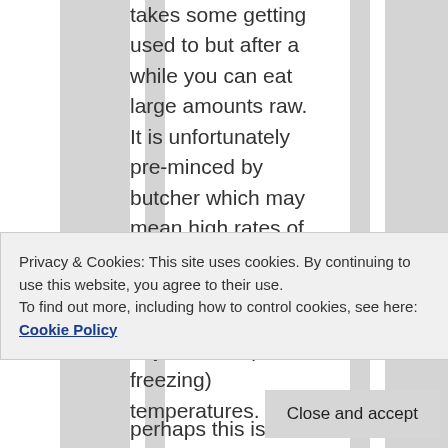takes some getting used to but after a while you can eat large amounts raw. It is unfortunately pre-minced by butcher which may mean high rates of histamine production, but only stored for around 2 days at cool (not freezing) temperatures. I had
perhaps this is
Privacy & Cookies: This site uses cookies. By continuing to use this website, you agree to their use.
To find out more, including how to control cookies, see here: Cookie Policy